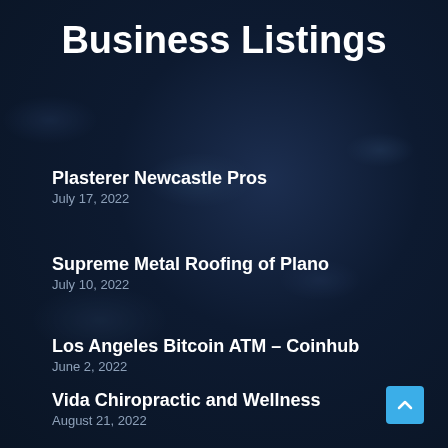Business Listings
Plasterer Newcastle Pros
July 17, 2022
Supreme Metal Roofing of Plano
July 10, 2022
Los Angeles Bitcoin ATM – Coinhub
June 2, 2022
Vida Chiropractic and Wellness
August 21, 2022